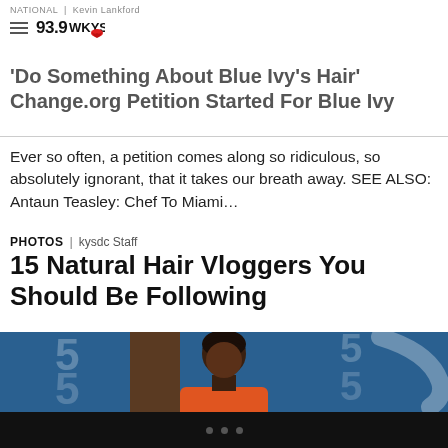NATIONAL | Kevin Lankford — 93.9 WKYS
'Do Something About Blue Ivy's Hair' Change.org Petition Started For Blue Ivy
Ever so often, a petition comes along so ridiculous, so absolutely ignorant, that it takes our breath away. SEE ALSO: Antaun Teasley: Chef To Miami…
PHOTOS | kysdc Staff
15 Natural Hair Vloggers You Should Be Following
[Figure (photo): A Black woman news anchor in a red/orange top seated at a desk in a television news studio with blue background showing the number 5 repeated.]